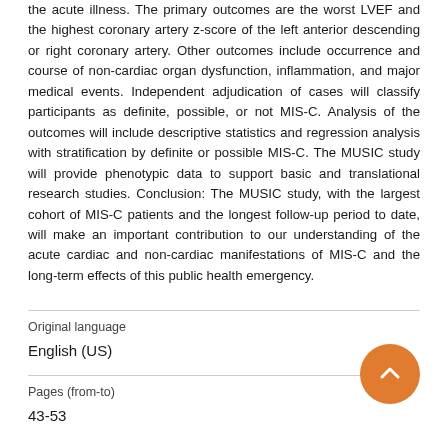the acute illness. The primary outcomes are the worst LVEF and the highest coronary artery z-score of the left anterior descending or right coronary artery. Other outcomes include occurrence and course of non-cardiac organ dysfunction, inflammation, and major medical events. Independent adjudication of cases will classify participants as definite, possible, or not MIS-C. Analysis of the outcomes will include descriptive statistics and regression analysis with stratification by definite or possible MIS-C. The MUSIC study will provide phenotypic data to support basic and translational research studies. Conclusion: The MUSIC study, with the largest cohort of MIS-C patients and the longest follow-up period to date, will make an important contribution to our understanding of the acute cardiac and non-cardiac manifestations of MIS-C and the long-term effects of this public health emergency.
Original language
English (US)
Pages (from-to)
43-53